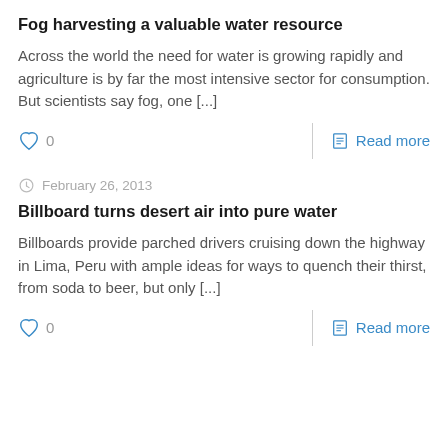Fog harvesting a valuable water resource
Across the world the need for water is growing rapidly and agriculture is by far the most intensive sector for consumption. But scientists say fog, one [...]
0
Read more
February 26, 2013
Billboard turns desert air into pure water
Billboards provide parched drivers cruising down the highway in Lima, Peru with ample ideas for ways to quench their thirst, from soda to beer, but only [...]
0
Read more